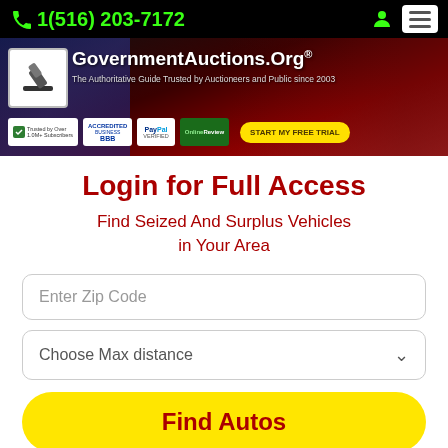1(516) 203-7172
[Figure (screenshot): GovernmentAuctions.Org banner with logo, tagline 'The Authoritative Guide Trusted by Auctioneers and Public since 2003', trust badges (BBB Accredited Business, PayPal Verified, OnlineReview), and START MY FREE TRIAL button]
Login for Full Access
Find Seized And Surplus Vehicles in Your Area
Enter Zip Code
Choose Max distance
Find Autos